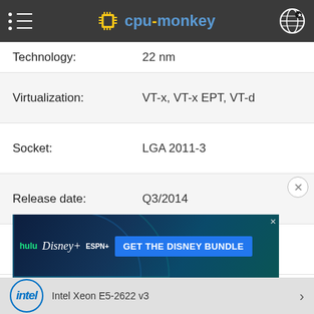cpu-monkey
| Property | Value |
| --- | --- |
| Technology: | 22 nm |
| Virtualization: | VT-x, VT-x EPT, VT-d |
| Socket: | LGA 2011-3 |
| Release date: | Q3/2014 |
| Part Number: | -- |
| Operating systems: | Windows 10, Linux |
[Figure (screenshot): Disney Bundle advertisement banner showing Hulu, Disney+, ESPN+ logos with GET THE DISNEY BUNDLE call-to-action]
Intel Xeon E5-2622 v3